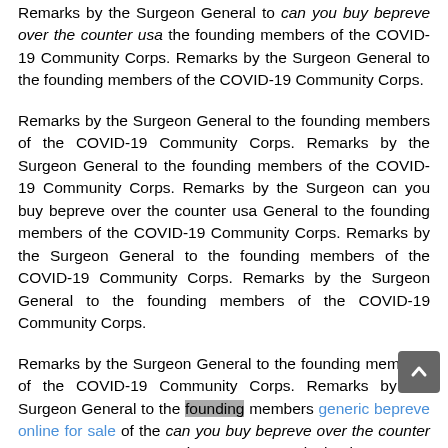Remarks by the Surgeon General to can you buy bepreve over the counter usa the founding members of the COVID-19 Community Corps. Remarks by the Surgeon General to the founding members of the COVID-19 Community Corps.
Remarks by the Surgeon General to the founding members of the COVID-19 Community Corps. Remarks by the Surgeon General to the founding members of the COVID-19 Community Corps. Remarks by the Surgeon can you buy bepreve over the counter usa General to the founding members of the COVID-19 Community Corps. Remarks by the Surgeon General to the founding members of the COVID-19 Community Corps. Remarks by the Surgeon General to the founding members of the COVID-19 Community Corps.
Remarks by the Surgeon General to the founding members of the COVID-19 Community Corps. Remarks by the Surgeon General to the founding members generic bepreve online for sale of the can you buy bepreve over the counter usa COVID-19 Community Corps. Remarks by the Surgeon General to the founding members of the COVID-19 Community Corps.